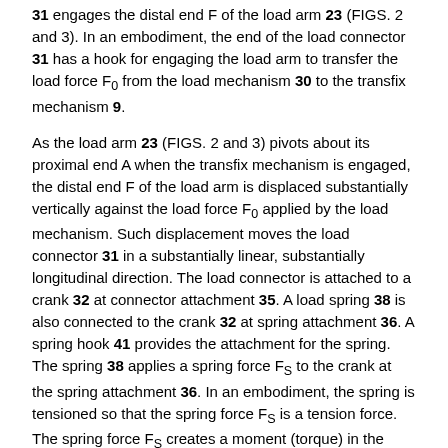31 engages the distal end F of the load arm 23 (FIGS. 2 and 3). In an embodiment, the end of the load connector 31 has a hook for engaging the load arm to transfer the load force F0 from the load mechanism 30 to the transfix mechanism 9.
As the load arm 23 (FIGS. 2 and 3) pivots about its proximal end A when the transfix mechanism is engaged, the distal end F of the load arm is displaced substantially vertically against the load force F0 applied by the load mechanism. Such displacement moves the load connector 31 in a substantially linear, substantially longitudinal direction. The load connector is attached to a crank 32 at connector attachment 35. A load spring 38 is also connected to the crank 32 at spring attachment 36. A spring hook 41 provides the attachment for the spring. The spring 38 applies a spring force FS to the crank at the spring attachment 36. In an embodiment, the spring is tensioned so that the spring force FS is a tension force. The spring force FS creates a moment (torque) in the crank about the crank pivot 33. The crank 32 transfers that spring force FS